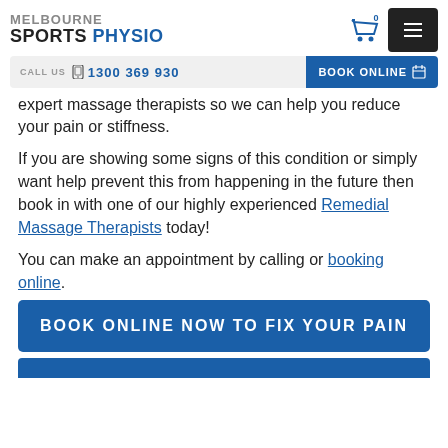MELBOURNE SPORTS PHYSIO
CALL US  1300 369 930
BOOK ONLINE
expert massage therapists so we can help you reduce your pain or stiffness.
If you are showing some signs of this condition or simply want help prevent this from happening in the future then book in with one of our highly experienced Remedial Massage Therapists today!
You can make an appointment by calling or booking online.
BOOK ONLINE NOW TO FIX YOUR PAIN